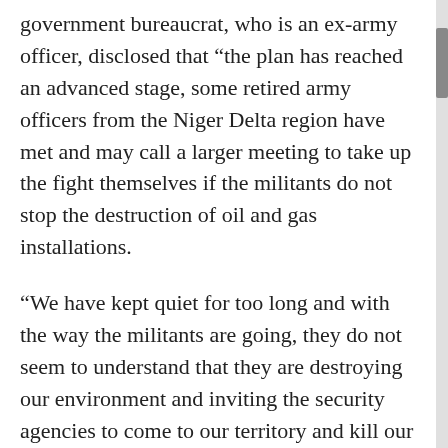government bureaucrat, who is an ex-army officer, disclosed that “the plan has reached an advanced stage, some retired army officers from the Niger Delta region have met and may call a larger meeting to take up the fight themselves if the militants do not stop the destruction of oil and gas installations.
“We have kept quiet for too long and with the way the militants are going, they do not seem to understand that they are destroying our environment and inviting the security agencies to come to our territory and kill our people,” he added.